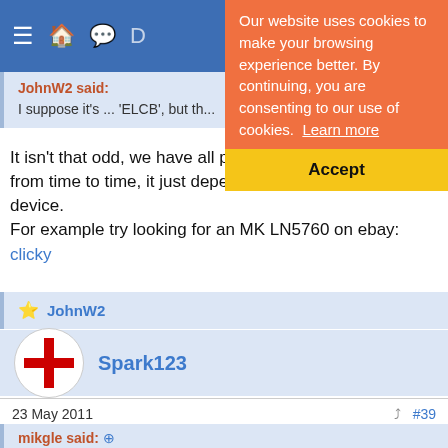[Figure (screenshot): Blue navigation bar with hamburger menu and home/icons]
[Figure (screenshot): Orange cookie consent banner with Accept button in yellow]
JohnW2 said:
I suppose it's ... 'ELCB', but th...
It isn't that odd, we have all probably come across them from time to time, it just depends on the age of the device.
For example try looking for an MK LN5760 on ebay: clicky
JohnW2
Spark123
23 May 2011   #39
mikgle said: ⊕
When it was written back in 2005 the 16th edn regs were the